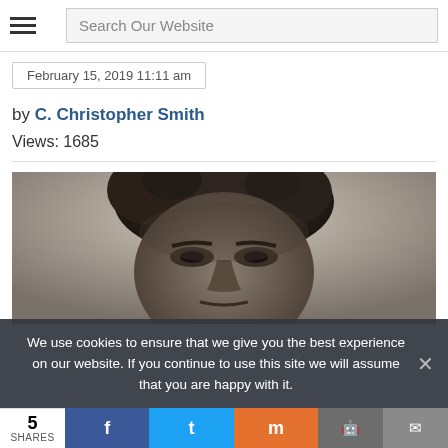Search Our Website
February 15, 2019 11:11 am
by C. Christopher Smith
Views: 1685
[Figure (photo): Black and white portrait photograph of Frederick Douglass, close-up of face and upper head]
We use cookies to ensure that we give you the best experience on our website. If you continue to use this site we will assume that you are happy with it.
5 SHARES — Share buttons: Facebook, Twitter, Mix, Reddit, Email